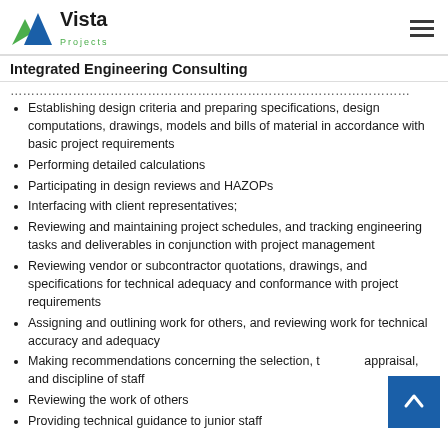Vista Projects — Integrated Engineering Consulting
Integrated Engineering Consulting
Establishing design criteria and preparing specifications, design computations, drawings, models and bills of material in accordance with basic project requirements
Performing detailed calculations
Participating in design reviews and HAZOPs
Interfacing with client representatives;
Reviewing and maintaining project schedules, and tracking engineering tasks and deliverables in conjunction with project management
Reviewing vendor or subcontractor quotations, drawings, and specifications for technical adequacy and conformance with project requirements
Assigning and outlining work for others, and reviewing work for technical accuracy and adequacy
Making recommendations concerning the selection, appraisal, and discipline of staff
Reviewing the work of others
Providing technical guidance to junior staff